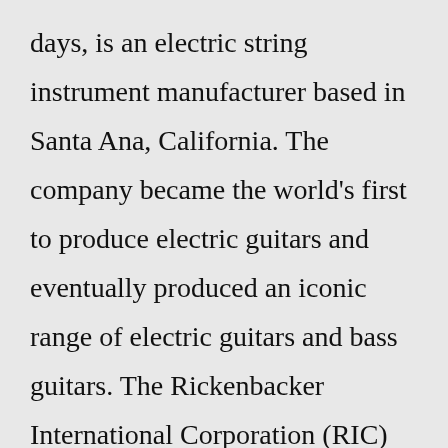days, is an electric string instrument manufacturer based in Santa Ana, California. The company became the world's first to produce electric guitars and eventually produced an iconic range of electric guitars and bass guitars. The Rickenbacker International Corporation (RIC) grew out of the first company founded for…NEW RICKENBACKER 4003S - RUBY RED. This traditional